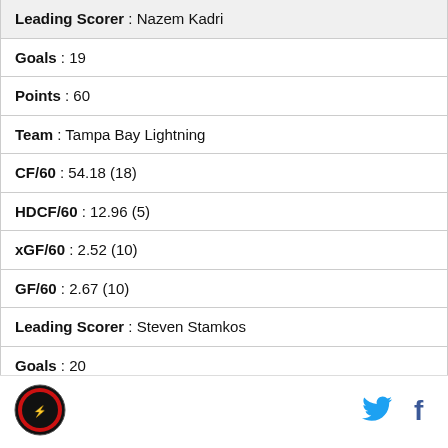| Leading Scorer : Nazem Kadri |
| Goals : 19 |
| Points : 60 |
| Team : Tampa Bay Lightning |
| CF/60 : 54.18 (18) |
| HDCF/60 : 12.96 (5) |
| xGF/60 : 2.52 (10) |
| GF/60 : 2.67 (10) |
| Leading Scorer : Steven Stamkos |
| Goals : 20 |
| Points : 52 |
| Team : Carolina Hurricanes |
[Figure (logo): Sports site logo (circular red/black emblem)]
[Figure (logo): Twitter bird icon]
[Figure (logo): Facebook f icon]